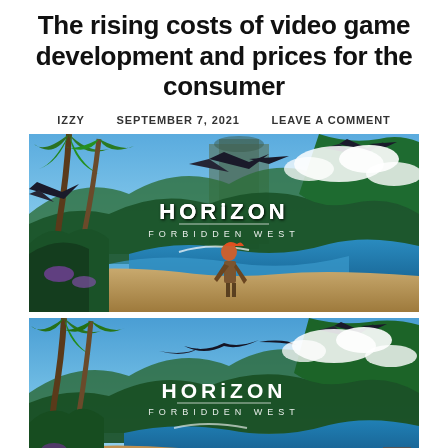The rising costs of video game development and prices for the consumer
IZZY   SEPTEMBER 7, 2021   LEAVE A COMMENT
[Figure (photo): Horizon Forbidden West promotional artwork showing Aloy on a tropical beach with large robotic bird creatures flying overhead and lush jungle scenery]
[Figure (photo): Horizon Forbidden West promotional artwork (duplicate/similar) showing the same scene with Aloy, robotic birds, tropical jungle and blue sky, partially visible with a scroll-to-top button overlay]